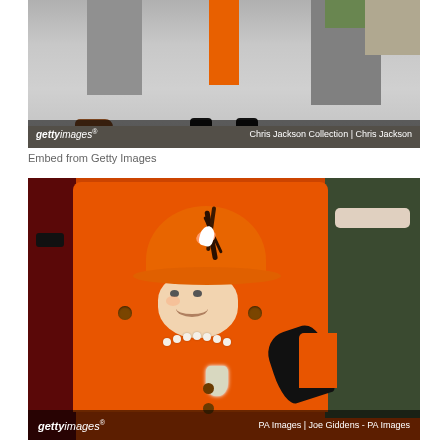[Figure (photo): Getty Images photo showing lower body/legs of person in orange outfit with black shoes, grey trousered figures on either side, outdoors on stone pavement. Watermark: 'gettyimages® Chris Jackson Collection | Chris Jackson']
Embed from Getty Images
[Figure (photo): Getty Images photo of elderly woman (Queen Elizabeth II) in bright orange coat and matching orange hat with dark feather and floral decoration, pearl necklace, diamond brooch, waving with black-gloved hand. Another figure in dark olive coat visible on right. Watermark: 'gettyimages® PA Images | Joe Giddens - PA Images']